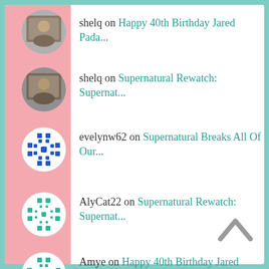shelq on Happy 40th Birthday Jared Pada...
shelq on Supernatural Rewatch: Supernat...
evelynw62 on Supernatural Breaks All Of Our...
AlyCat22 on Supernatural Rewatch: Supernat...
Amye on Happy 40th Birthday Jared Pada...